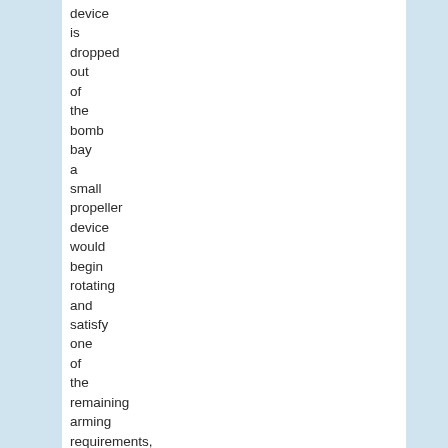device is dropped out of the bomb bay a small propeller device would begin rotating and satisfy one of the remaining arming requirements,